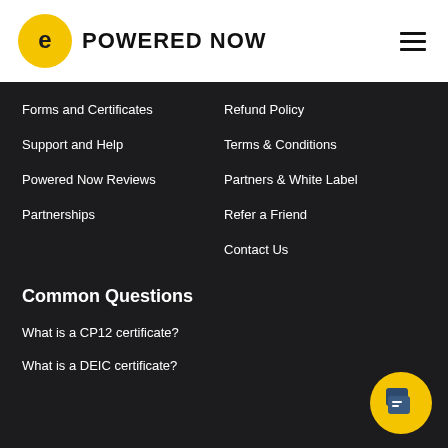POWERED NOW
Forms and Certificates
Support and Help
Powered Now Reviews
Partnerships
Refund Policy
Terms & Conditions
Partners & White Label
Refer a Friend
Contact Us
Common Questions
What is a CP12 certificate?
What is a DEIC certificate?